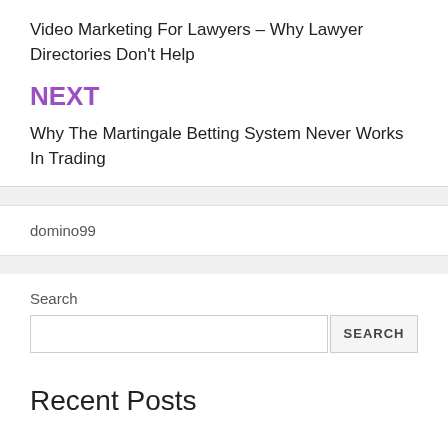Video Marketing For Lawyers – Why Lawyer Directories Don't Help
NEXT
Why The Martingale Betting System Never Works In Trading
domino99
Search
Recent Posts